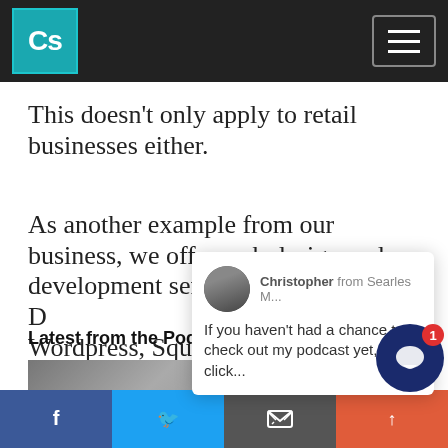Cs
This doesn't only apply to retail businesses either.
As another example from our business, we offer web design and development services in an era where [Wordpress, Squarespace, GoDaddy run rampant...]
[Figure (other): Popup notification showing Christopher from Searles M... avatar with message: If you haven't had a chance to check out my podcast yet, click...]
Latest from the Podcast More ➜
[Figure (photo): Podcast thumbnail image - person photo]
Redesigning Your Website the Right Way
Facebook | Twitter | Email | Social share buttons